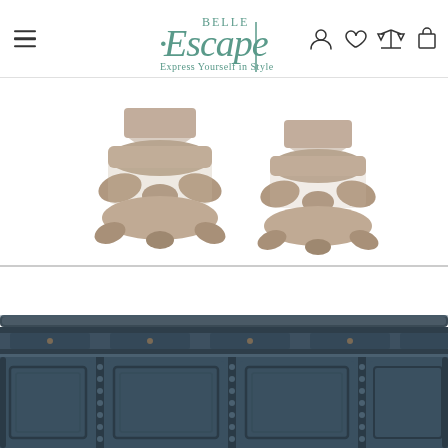Belle Escape – Express Yourself in Style – navigation bar with hamburger menu, logo, user/wishlist/compare/cart icons
[Figure (photo): Two ornate carved wooden pedestal lamp bases with scroll feet, distressed beige/grey finish, shown against white background]
[Figure (photo): Close-up of a distressed blue-grey painted wooden sideboard/credenza with rounded ends, reeded detail, small knob drawer pulls, and paneled cabinet doors]